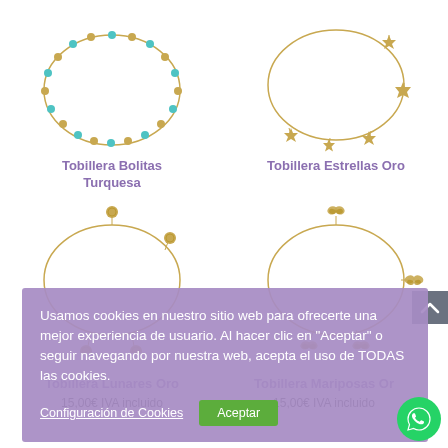[Figure (photo): Tobillera Bolitas Turquesa - turquoise and gold bead ankle bracelet product image]
[Figure (photo): Tobillera Estrellas Oro - gold star charm ankle bracelet product image]
Tobillera Bolitas Turquesa
Tobillera Estrellas Oro
Usamos cookies en nuestro sitio web para ofrecerte una mejor experiencia de usuario. Al hacer clic en "Aceptar" o seguir navegando por nuestra web, acepta el uso de TODAS las cookies.
Configuración de Cookies
Aceptar
[Figure (photo): Tobillera Lunares Oro - gold coin charm ankle bracelet product image]
[Figure (photo): Tobillera Mariposas Oro - gold butterfly charm ankle bracelet product image]
Tobillera Lunares Oro
Tobillera Mariposas Oro
15,00€ IVA incluido
15,00€ IVA incluido